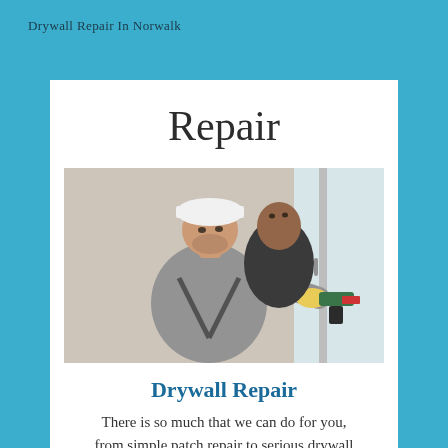Drywall Repair In Norwalk
Repair
[Figure (photo): Two workers installing or repairing drywall; one man in a white hard hat and gray shirt holding a power drill with yellow gloves, another worker behind him looking upward.]
Drywall Repair
There is so much that we can do for you, from simple patch repair to serious drywall